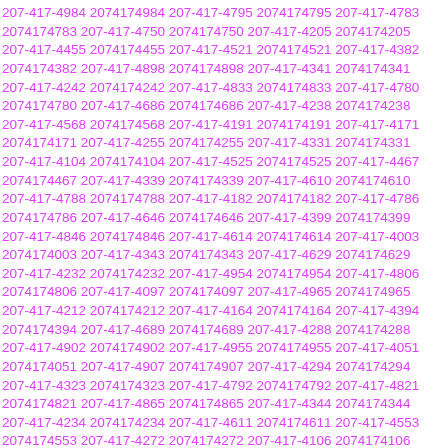207-417-4984 2074174984 207-417-4795 2074174795 207-417-4783 2074174783 207-417-4750 2074174750 207-417-4205 2074174205 207-417-4455 2074174455 207-417-4521 2074174521 207-417-4382 2074174382 207-417-4898 2074174898 207-417-4341 2074174341 207-417-4242 2074174242 207-417-4833 2074174833 207-417-4780 2074174780 207-417-4686 2074174686 207-417-4238 2074174238 207-417-4568 2074174568 207-417-4191 2074174191 207-417-4171 2074174171 207-417-4255 2074174255 207-417-4331 2074174331 207-417-4104 2074174104 207-417-4525 2074174525 207-417-4467 2074174467 207-417-4339 2074174339 207-417-4610 2074174610 207-417-4788 2074174788 207-417-4182 2074174182 207-417-4786 2074174786 207-417-4646 2074174646 207-417-4399 2074174399 207-417-4846 2074174846 207-417-4614 2074174614 207-417-4003 2074174003 207-417-4343 2074174343 207-417-4629 2074174629 207-417-4232 2074174232 207-417-4954 2074174954 207-417-4806 2074174806 207-417-4097 2074174097 207-417-4965 2074174965 207-417-4212 2074174212 207-417-4164 2074174164 207-417-4394 2074174394 207-417-4689 2074174689 207-417-4288 2074174288 207-417-4902 2074174902 207-417-4955 2074174955 207-417-4051 2074174051 207-417-4907 2074174907 207-417-4294 2074174294 207-417-4323 2074174323 207-417-4792 2074174792 207-417-4821 2074174821 207-417-4865 2074174865 207-417-4344 2074174344 207-417-4234 2074174234 207-417-4611 2074174611 207-417-4553 2074174553 207-417-4272 2074174272 207-417-4106 2074174106 207-417-4312 2074174312 207-417-4912 2074174912 207-417-4963